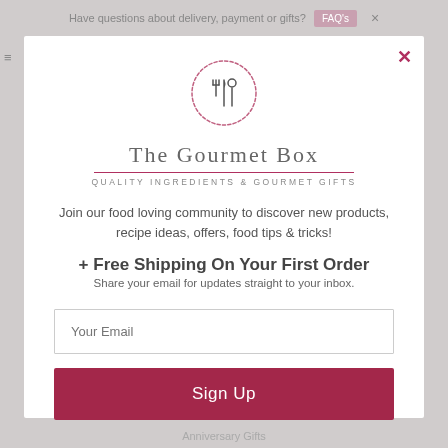Have questions about delivery, payment or gifts? FAQ's ×
[Figure (logo): The Gourmet Box circular logo with fork, knife and spoon icons surrounded by a dotted/dashed circle border]
The Gourmet Box
QUALITY INGREDIENTS & GOURMET GIFTS
Join our food loving community to discover new products, recipe ideas, offers, food tips & tricks!
+ Free Shipping On Your First Order
Share your email for updates straight to your inbox.
Your Email
Sign Up
Anniversary Gifts